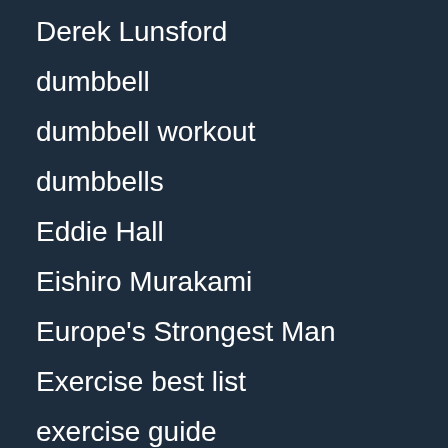Derek Lunsford
dumbbell
dumbbell workout
dumbbells
Eddie Hall
Eishiro Murakami
Europe's Strongest Man
Exercise best list
exercise guide
Exercise Guides
Exercises
Explained
fat loss